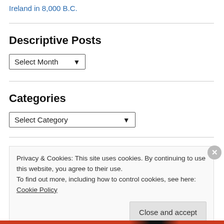Ireland in 8,000 B.C.
Descriptive Posts
Select Month
Categories
Select Category
Privacy & Cookies: This site uses cookies. By continuing to use this website, you agree to their use.
To find out more, including how to control cookies, see here: Cookie Policy
Close and accept